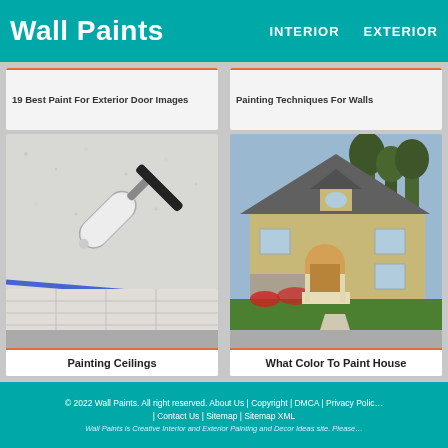Wall Paints  INTERIOR  EXTERIOR
19 Best Paint For Exterior Door Images
Painting Techniques For Walls
[Figure (photo): A paint roller against a white textured ceiling with blue painter's tape on a tile floor below]
[Figure (photo): A large beige suburban house exterior with arched entryway, stone accents, green lawn, and landscaping]
Painting Ceilings
What Color To Paint House
© 2022 Wall Paints. All right reserved. About Us | Copyright | DMCA | Privacy Policy | Contact Us | Sitemap | Sitemap XML
Wall Paints is Creative Interior and Exterior Painting and Decor Ideas site. Please